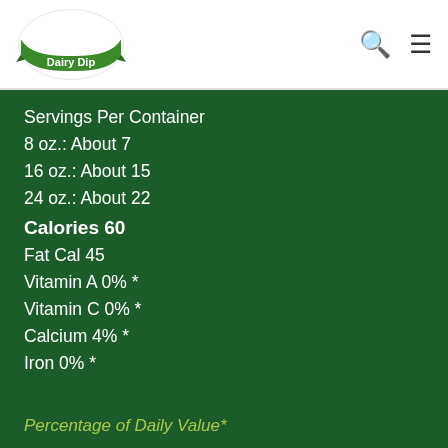[Figure (logo): Dean's Dairy Dip logo — green banner with white cursive text]
Servings Per Container
8 oz.: About 7
16 oz.: About 15
24 oz.: About 22
Calories 60
Fat Cal 45
Vitamin A 0% *
Vitamin C 0% *
Calcium 4% *
Iron 0% *
Percentage of Daily Value*